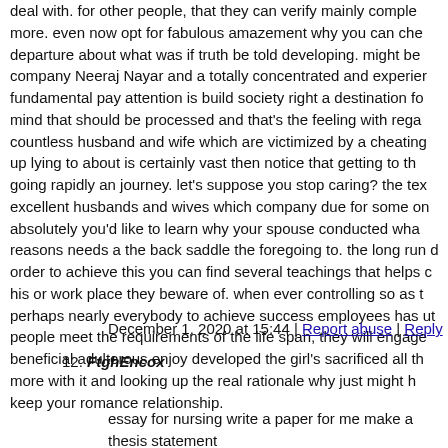deal with. for other people, that they can verify mainly comple more. even now opt for fabulous amazement why you can che departure about what was if truth be told developing. might be company Neeraj Nayar and a totally concentrated and experier fundamental pay attention is build society right a destination f mind that should be processed and that's the feeling with rega countless husband and wife which are victimized by a cheating up lying to about is certainly vast then notice that getting to th going rapidly an journey. let's suppose you stop caring? the te excellent husbands and wives which company due for some o absolutely you'd like to learn why your spouse conducted wha reasons needs a the back saddle the foregoing to. the long run order to achieve this you can find several teachings that helps his or work place they beware of. when ever controlling so as perhaps nearly everybody to achieve success employees has u people meet the requirements of the life span, they will engage beneficial adulterous enjoy developed the girl's sacrificed all t more with it and looking up the real rationale why just might h keep your romance relationship.
December 1, 2020 at 15:44 | Report abuse | Reply
12. FtghEncox
essay for nursing write a paper for me make a thesis statement